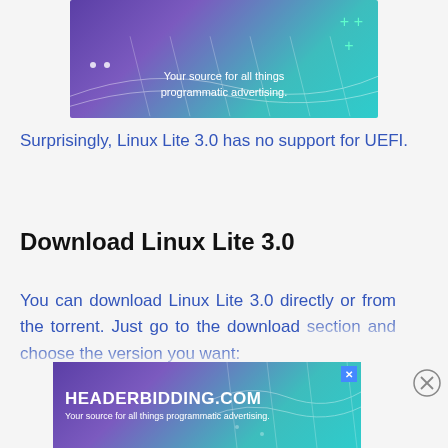[Figure (illustration): HEADERBIDDING.COM advertisement banner with gradient purple to teal background, text 'Your source for all things programmatic advertising.', decorative grid lines and plus symbols]
Surprisingly, Linux Lite 3.0 has no support for UEFI.
Download Linux Lite 3.0
You can download Linux Lite 3.0 directly or from the torrent. Just go to the download section and choose the version you want:
[Figure (illustration): HEADERBIDDING.COM advertisement banner with gradient purple to teal background, text 'Your source for all things programmatic advertising.', decorative grid lines, close X button in top-right corner]